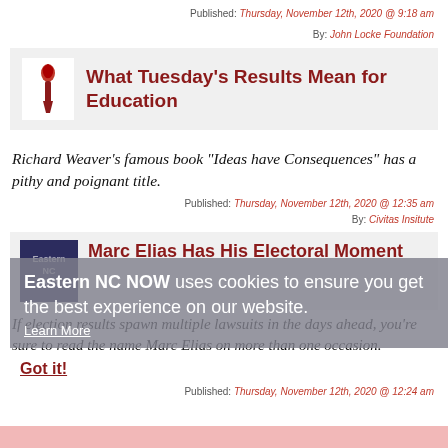Published: Thursday, November 12th, 2020 @ 9:18 am
By: John Locke Foundation
What Tuesday's Results Mean for Education
Richard Weaver's famous book “Ideas have Consequences” has a pithy and poignant title.
Published: Thursday, November 12th, 2020 @ 12:35 am
By: Civitas Insitute
Marc Elias Has His Electoral Moment
Eastern NC NOW uses cookies to ensure you get the best experience on our website.
Learn More
If election results spawn multiple lawsuits in the days ahead, you’re sure to read the name Marc Elias on more than one occasion.
Got it!
Published: Thursday, November 12th, 2020 @ 12:24 am